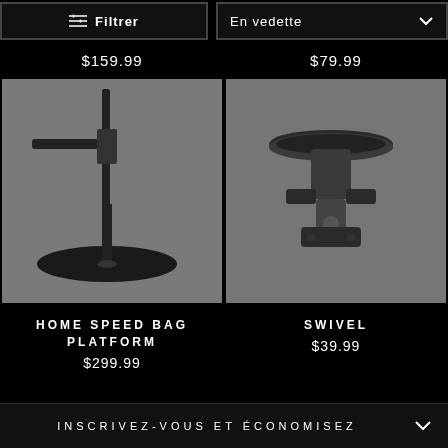[Figure (screenshot): Top navigation bar with Filtrer button and En vedette dropdown on black background]
$159.99
$79.99
[Figure (photo): Home Speed Bag Platform product photo on grey background]
[Figure (photo): Swivel product photo on grey background]
HOME SPEED BAG PLATFORM
$299.99
SWIVEL
$39.99
INSCRIVEZ-VOUS ET ÉCONOMISEZ